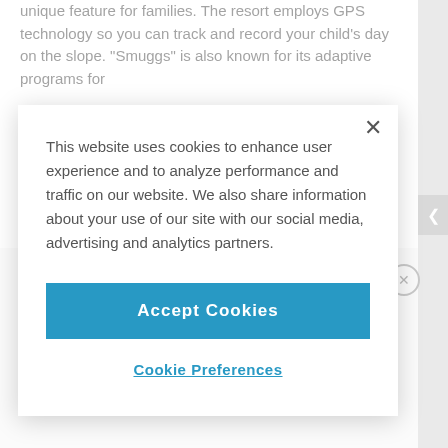unique feature for families. The resort employs GPS technology so you can track and record your child's day on the slope. "Smuggs" is also known for its adaptive programs for
[Figure (screenshot): Cookie consent modal dialog overlay on a webpage. Modal contains text about cookie usage, an 'Accept Cookies' button in blue, and a 'Cookie Preferences' link. Background shows partially visible webpage content including a pink button and advertisement text.]
This website uses cookies to enhance user experience and to analyze performance and traffic on our website. We also share information about your use of our site with our social media, advertising and analytics partners.
Accept Cookies
Cookie Preferences
ADVERTISEMENT
By proceeding, you agree to our Privacy Policy and Terms of Use.